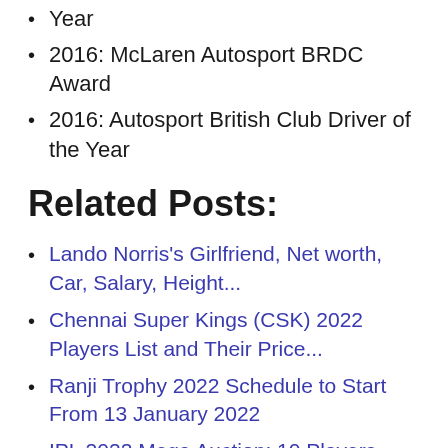Year
2016: McLaren Autosport BRDC Award
2016: Autosport British Club Driver of the Year
Related Posts:
Lando Norris's Girlfriend, Net worth, Car, Salary, Height...
Chennai Super Kings (CSK) 2022 Players List and Their Price...
Ranji Trophy 2022 Schedule to Start From 13 January 2022
IPL 2022 Mega Auction: 10 Players who might not get a...
IPL 2022: Jason Roy Pulls Out of IPL 2022 Citing Bio-bubble...
England tour of West Indies 2022 Time